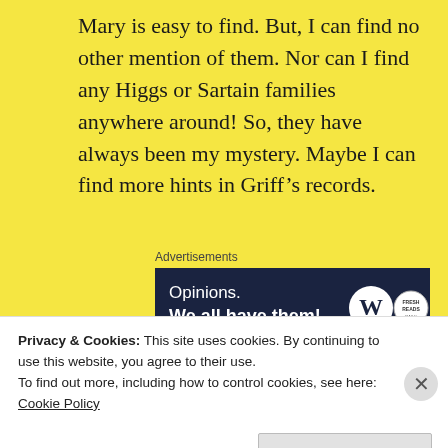Mary is easy to find. But, I can find no other mention of them. Nor can I find any Higgs or Sartain families anywhere around! So, they have always been my mystery. Maybe I can find more hints in Griff’s records.
Advertisements
[Figure (screenshot): Advertisement banner with dark navy background. Text reads 'Opinions. We all have them!' with WordPress logo and another circular logo on the right.]
This is why family photos are so exciting. They
Privacy & Cookies: This site uses cookies. By continuing to use this website, you agree to their use.
To find out more, including how to control cookies, see here:
Cookie Policy
Close and accept